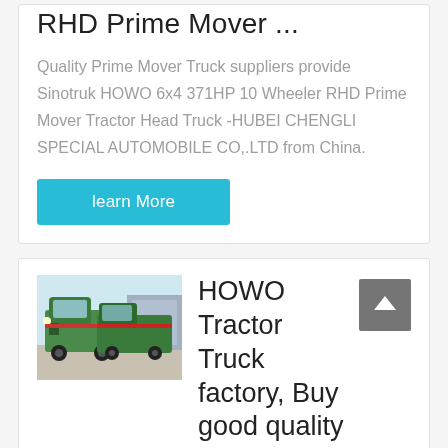RHD Prime Mover ...
Quality Prime Mover Truck suppliers provide Sinotruk HOWO 6x4 371HP 10 Wheeler RHD Prime Mover Tractor Head Truck -HUBEI CHENGLI SPECIAL AUTOMOBILE CO,.LTD from China.
learn More
[Figure (photo): Green HOWO tractor trucks parked in a lot, front view]
HOWO Tractor Truck factory, Buy good quality HOWO ...
Sinotruk HOWO 6X4 Tractor Truck